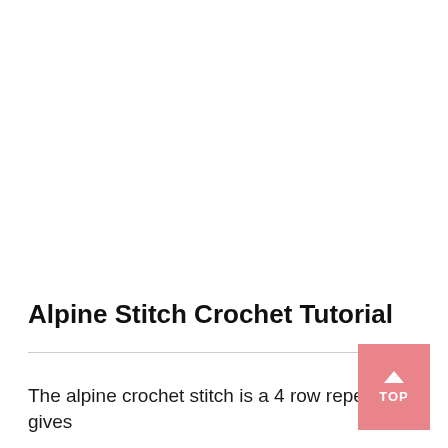Alpine Stitch Crochet Tutorial
The alpine crochet stitch is a 4 row repeat and gives